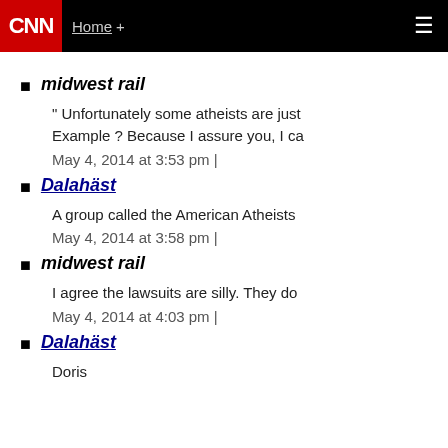CNN | Home +
midwest rail
" Unfortunately some atheists are just Example ? Because I assure you, I ca
May 4, 2014 at 3:53 pm |
Dalahäst
A group called the American Atheists
May 4, 2014 at 3:58 pm |
midwest rail
I agree the lawsuits are silly. They do
May 4, 2014 at 4:03 pm |
Dalahäst
Doris